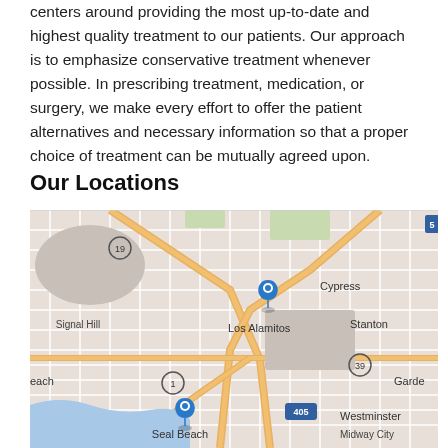centers around providing the most up-to-date and highest quality treatment to our patients. Our approach is to emphasize conservative treatment whenever possible. In prescribing treatment, medication, or surgery, we make every effort to offer the patient alternatives and necessary information so that a proper choice of treatment can be mutually agreed upon.
Our Locations
[Figure (map): Google Maps showing two location pins: one in Los Alamitos/Cypress area and one in Seal Beach. Visible labels include Signal Hill, Cypress, Los Alamitos, Stanton, Garde(na), Westminster, Midway City, Seal Beach, Beach, highway markers 19, 5, 1, 39, 405.]